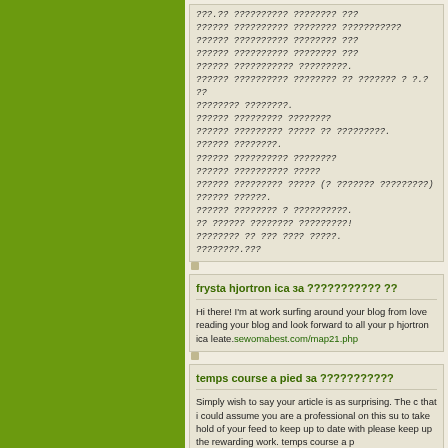[Figure (other): Green sidebar panel on the left side of the page]
?????? ??????????? ???????? ???????????
?????? ??????????? ???????? ???
?????? ??????????? ???????? ???
?????? ??????????? ?????????.
?????? ??????????? ???????? ?? ??????? ? ?.? ??
???????? ????????.
?????? ????????? ????????
?????? ????????? ????? ?? ?????????.
?????? ????????.
?????? ??????????? ????????
?????? ??????????? ?????
?????? ????????? ????? (? ??????? ?????????)
?????? ??????.
?????? ???????? ? ??????????.
?? ?????? ???????? ?????????!
???????? ?? ??? ???? ?????.
????????.???
frysta hjortron ica за ??????????? ??
Hi there! I'm at work surfing around your blog from love reading your blog and look forward to all your p hjortron ica leate.sewomabest.com/map21.php
temps course a pied за ???????????
Simply wish to say your article is as surprising. The c that i could assume you are a professional on this su to take hold of your feed to keep up to date with please keep up the rewarding work. temps course a p